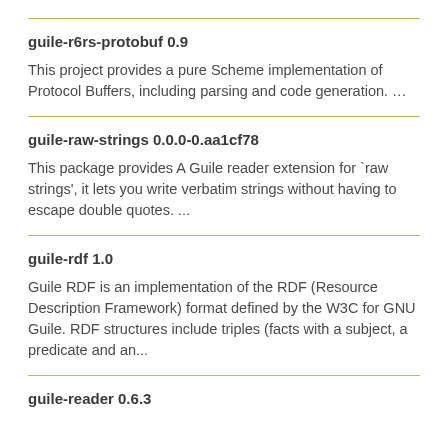guile-r6rs-protobuf 0.9
This project provides a pure Scheme implementation of Protocol Buffers, including parsing and code generation. …
guile-raw-strings 0.0.0-0.aa1cf78
This package provides A Guile reader extension for `raw strings', it lets you write verbatim strings without having to escape double quotes. ...
guile-rdf 1.0
Guile RDF is an implementation of the RDF (Resource Description Framework) format defined by the W3C for GNU Guile. RDF structures include triples (facts with a subject, a predicate and an...
guile-reader 0.6.3